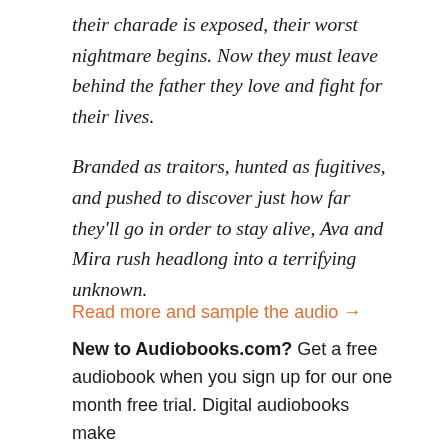their charade is exposed, their worst nightmare begins. Now they must leave behind the father they love and fight for their lives.

Branded as traitors, hunted as fugitives, and pushed to discover just how far they'll go in order to stay alive, Ava and Mira rush headlong into a terrifying unknown.
Read more and sample the audio →
New to Audiobooks.com? Get a free audiobook when you sign up for our one month free trial. Digital audiobooks make